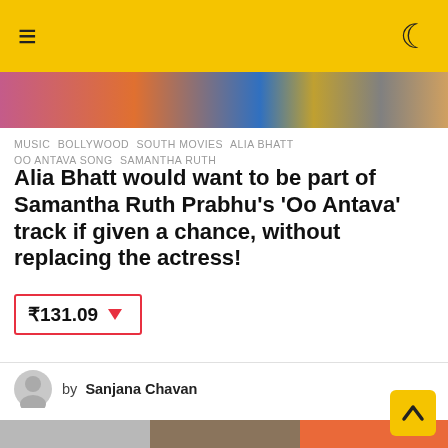≡  🌙
[Figure (photo): Colorful top image strip with celebrity photos]
MUSIC  BOLLYWOOD  SOUTH MOVIES  ALIA BHATT  OO ANTAVA SONG  SAMANTHA RUTH
Alia Bhatt would want to be part of Samantha Ruth Prabhu's 'Oo Antava' track if given a chance, without replacing the actress!
₹131.09 ▼
by  Sanjana Chavan
[Figure (photo): Three celebrity photos side by side at bottom of page]